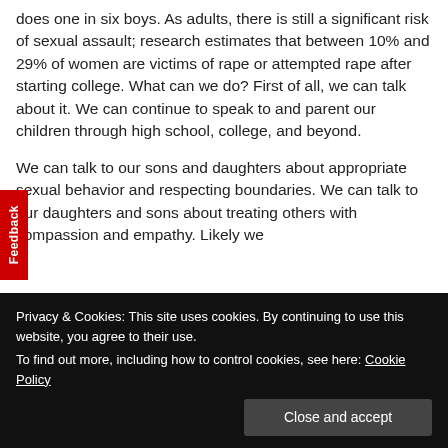does one in six boys. As adults, there is still a significant risk of sexual assault; research estimates that between 10% and 29% of women are victims of rape or attempted rape after starting college. What can we do? First of all, we can talk about it. We can continue to speak to and parent our children through high school, college, and beyond.

We can talk to our sons and daughters about appropriate sexual behavior and respecting boundaries. We can talk to our daughters and sons about treating others with compassion and empathy. Likely we
Privacy & Cookies: This site uses cookies. By continuing to use this website, you agree to their use.
To find out more, including how to control cookies, see here: Cookie Policy
Close and accept